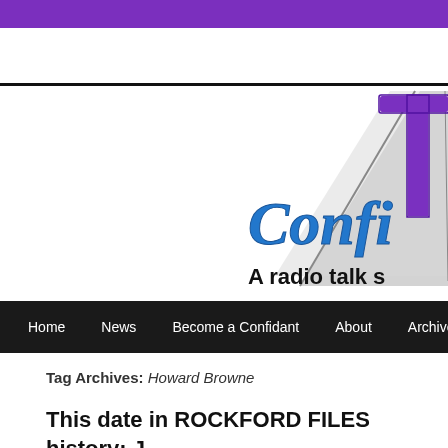[Figure (logo): Partial logo showing a large purple letter T with gray diagonal lines and blue cursive text reading 'Confi...' and below it bold text 'A radio talk s...']
Home | News | Become a Confidant | About | Archives | Listen
Tag Archives: Howard Browne
This date in ROCKFORD FILES history: J